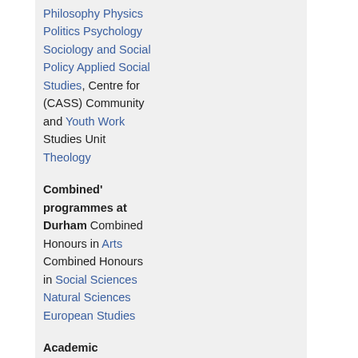Philosophy Physics Politics Psychology Sociology and Social Policy Applied Social Studies, Centre for (CASS) Community and Youth Work Studies Unit Theology
Combined' programmes at Durham
Combined Honours in Arts Combined Honours in Social Sciences Natural Sciences European Studies
Academic programmes at Stockton Campus
Applied Psychology Biomedical Sciences Business Finance
Education: Initial Teacher Training (Primary Education, Science, Information & Communications Technology)
Environmental and